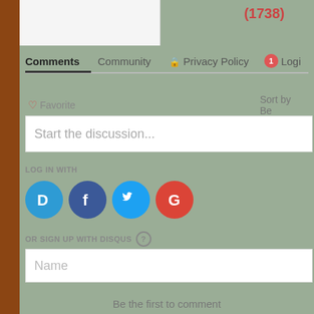(1738)
Comments  Community  Privacy Policy  Login
Favorite  Sort by Best
Start the discussion...
LOG IN WITH
[Figure (other): Social login buttons: Disqus (D), Facebook (f), Twitter bird, Google (G)]
OR SIGN UP WITH DISQUS ?
Name
Be the first to comment